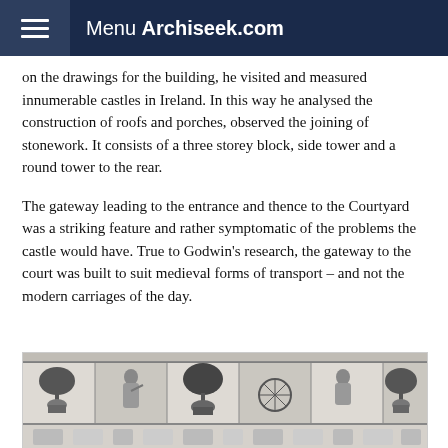Menu Archiseek.com
on the drawings for the building, he visited and measured innumerable castles in Ireland. In this way he analysed the construction of roofs and porches, observed the joining of stonework. It consists of a three storey block, side tower and a round tower to the rear.
The gateway leading to the entrance and thence to the Courtyard was a striking feature and rather symptomatic of the problems the castle would have. True to Godwin's research, the gateway to the court was built to suit medieval forms of transport – and not the modern carriages of the day.
[Figure (illustration): A black and white illustration showing a decorative frieze or panel with multiple sections depicting trees in pots, robed figures, a spinning wheel, and ornamental designs arranged in a horizontal strip.]